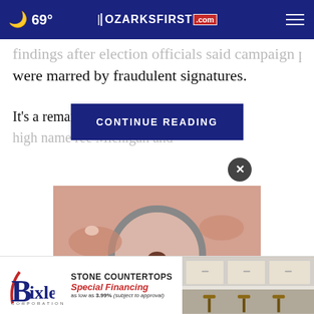OzarksFirst.com — 69°
...findings after election officials said campaign petitions were marred by fraudulent signatures.
CONTINUE READING
It's a remarkable ... ig, who has high name rec... Michigan and
[Figure (photo): A magnifying glass held over a mole on skin, close-up medical/dermatology image]
[Figure (other): Bixler Corporation advertisement: Stone Countertops, Special Financing as low as 3.99% (subject to approval), with kitchen image on right]